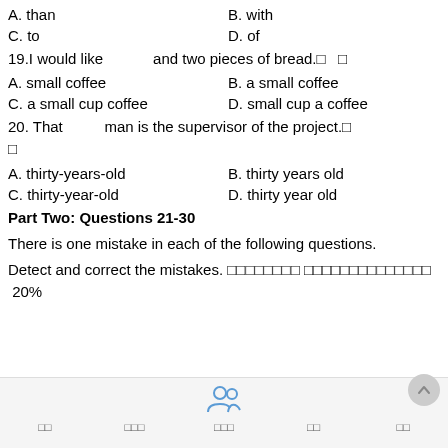A. than    B. with
C. to    D. of
19.I would like    and two pieces of bread.□ □
A. small coffee    B. a small coffee
C. a small cup coffee    D. small cup a coffee
20. That    man is the supervisor of the project.□ □
A. thirty‑years‑old    B. thirty years old
C. thirty‑year‑old    D. thirty year old
Part Two: Questions 21-30
There is one mistake in each of the following questions.
Detect and correct the mistakes. □□□□□□□□ □□□□□□□□□□□□□□  20%
□□  □□□  □□□  □□  □□